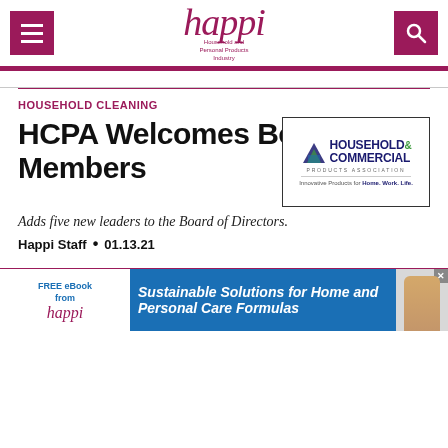happi — Household and Personal Products Industry
HOUSEHOLD CLEANING
[Figure (logo): Household & Commercial Products Association logo with tagline: Innovative Products for Home. Work. Life.]
HCPA Welcomes Board Members
Adds five new leaders to the Board of Directors.
Happi Staff • 01.13.21
[Figure (other): Advertisement banner: FREE eBook from happi — Sustainable Solutions for Home and Personal Care Formulas]